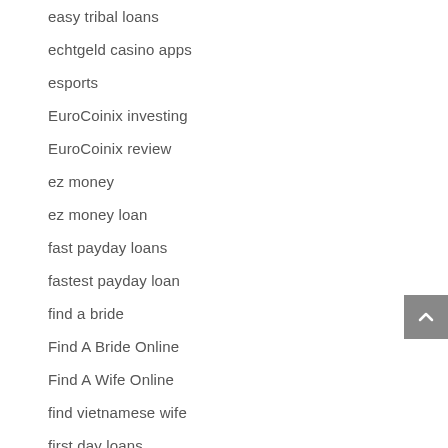easy tribal loans
echtgeld casino apps
esports
EuroCoinix investing
EuroCoinix review
ez money
ez money loan
fast payday loans
fastest payday loan
find a bride
Find A Bride Online
Find A Wife Online
find vietnamese wife
first day loans
first day payday loans